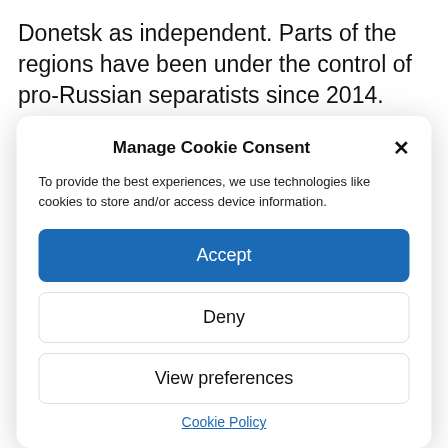Donetsk as independent. Parts of the regions have been under the control of pro-Russian separatists since 2014.
After the conquest of
Manage Cookie Consent
To provide the best experiences, we use technologies like cookies to store and/or access device information.
Accept
Deny
View preferences
Cookie Policy